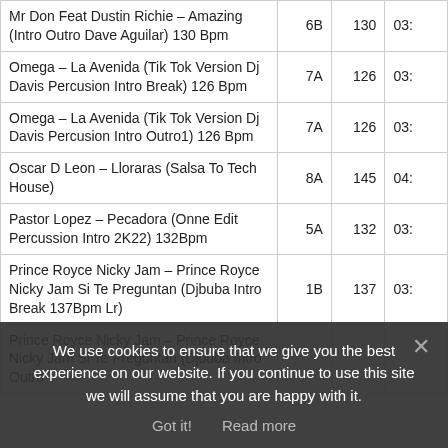| Track | Key | BPM | Duration |
| --- | --- | --- | --- |
| Mr Don Feat Dustin Richie – Amazing (Intro Outro Dave Aguilar) 130 Bpm | 6B | 130 | 03: |
| Omega – La Avenida (Tik Tok Version Dj Davis Percusion Intro Break) 126 Bpm | 7A | 126 | 03: |
| Omega – La Avenida (Tik Tok Version Dj Davis Percusion Intro Outro1) 126 Bpm | 7A | 126 | 03: |
| Oscar D Leon – Lloraras (Salsa To Tech House) | 8A | 145 | 04: |
| Pastor Lopez – Pecadora (Onne Edit Percussion Intro 2K22) 132Bpm | 5A | 132 | 03: |
| Prince Royce Nicky Jam – Prince Royce Nicky Jam Si Te Preguntan (Djbuba Intro Break 137Bpm Lr) | 1B | 137 | 03: |
| Prince Royce Nicky Jam – Prince Royce Nicky Jam Si Te Preguntan (Djbuba Intro Outro …) |  |  |  |
We use cookies to ensure that we give you the best experience on our website. If you continue to use this site we will assume that you are happy with it.